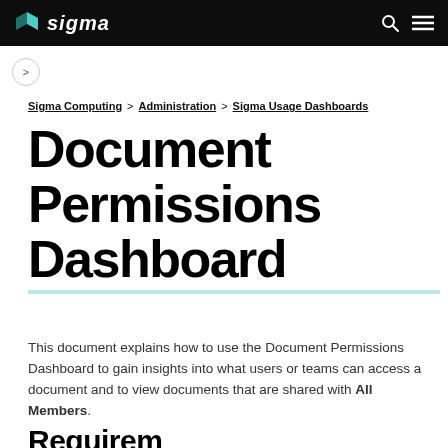sigma
Sigma Computing > Administration > Sigma Usage Dashboards
Document Permissions Dashboard
This document explains how to use the Document Permissions Dashboard to gain insights into what users or teams can access a document and to view documents that are shared with All Members.
Requirements